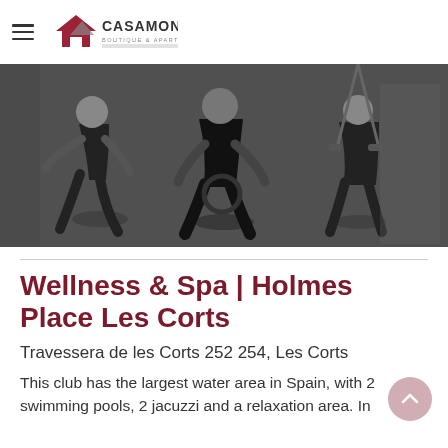CASAMONA | Boutique & Apartments (logo)
[Figure (photo): Black and white photo of people exercising/working out in a gym, doing lunges and functional training with equipment.]
Wellness & Spa | Holmes Place Les Corts
Travessera de les Corts 252 254, Les Corts
This club has the largest water area in Spain, with 2 swimming pools, 2 jacuzzi and a relaxation area. In addition, the club...